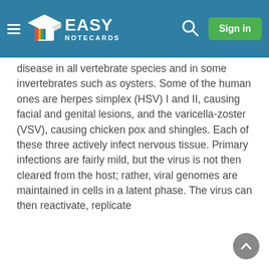Easy Notecards
disease in all vertebrate species and in some invertebrates such as oysters. Some of the human ones are herpes simplex (HSV) I and II, causing facial and genital lesions, and the varicella-zoster (VSV), causing chicken pox and shingles. Each of these three actively infect nervous tissue. Primary infections are fairly mild, but the virus is not then cleared from the host; rather, viral genomes are maintained in cells in a latent phase. The virus can then reactivate, replicate